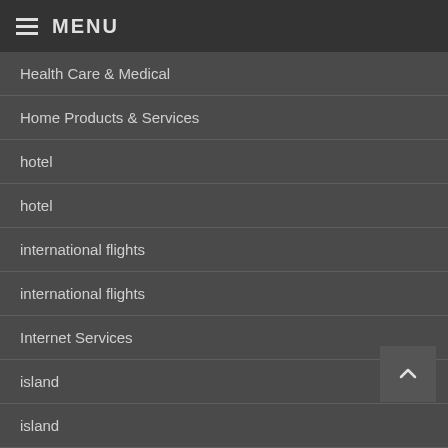MENU
Health Care & Medical
Home Products & Services
hotel
hotel
international flights
international flights
Internet Services
island
island
mountain